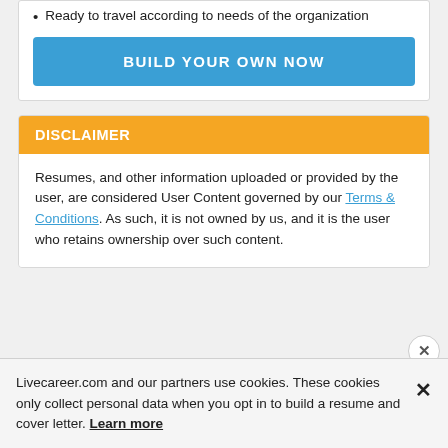Ready to travel according to needs of the organization
BUILD YOUR OWN NOW
DISCLAIMER
Resumes, and other information uploaded or provided by the user, are considered User Content governed by our Terms & Conditions. As such, it is not owned by us, and it is the user who retains ownership over such content.
Livecareer.com and our partners use cookies. These cookies only collect personal data when you opt in to build a resume and cover letter. Learn more